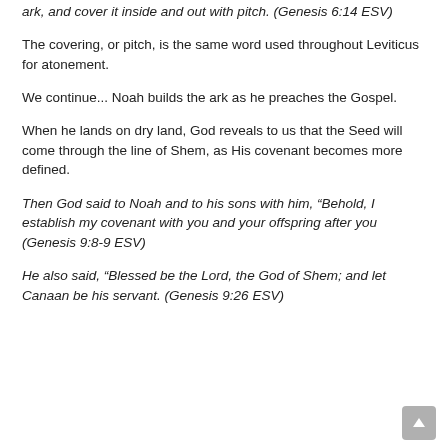ark, and cover it inside and out with pitch. (Genesis 6:14 ESV)
The covering, or pitch, is the same word used throughout Leviticus for atonement.
We continue... Noah builds the ark as he preaches the Gospel.
When he lands on dry land, God reveals to us that the Seed will come through the line of Shem, as His covenant becomes more defined.
Then God said to Noah and to his sons with him, “Behold, I establish my covenant with you and your offspring after you (Genesis 9:8-9 ESV)
He also said, “Blessed be the Lord, the God of Shem; and let Canaan be his servant. (Genesis 9:26 ESV)